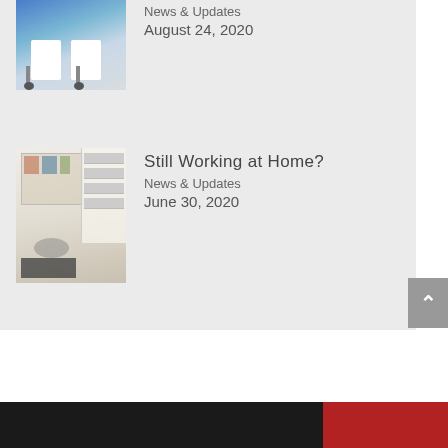[Figure (photo): Office furniture with white standing desks and chairs against a blue background]
News & Updates
August 24, 2020
[Figure (photo): Home office interior with bookshelves, artwork on walls, desk with monitor, and a dark coffee table in foreground]
Still Working at Home?
News & Updates
June 30, 2020